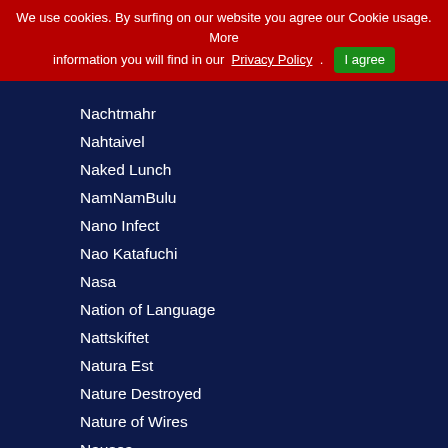We use cookies. By surfing on our website you agree our Cookie usage. More information you will find in our Privacy Policy . I agree
Nachtmahr
Nahtaivel
Naked Lunch
NamNamBulu
Nano Infect
Nao Katafuchi
Nasa
Nation of Language
Nattskiftet
Natura Est
Nature Destroyed
Nature of Wires
Nausea
Navigator Project
Nebula-H
Nebulo
Necro Facility
Necro Stellar
Necrotekk
Need For Speed
Needle Sharing
Negant
Negative Format
Nico Wieditz - who grew up in what is discovered the queen of instruments, shows. After founding his band COND
Una Corda - is a musical footprint of t hand, scores were recorded by over 3 of course. Both worlds combine a ver
Special thanks to Neil Tennant of the
Tracklisting:
| No. | Track |
| --- | --- |
| 1 | Blind |
| 2 | Somebody's Song |
| 3 | Mensch bleib Mensch |
| 4 | Emilia |
| 5 | Go Home |
| 6 | Freiheit |
| 7 | Sail away |
| 8 | Wenn der Himmel fällt |